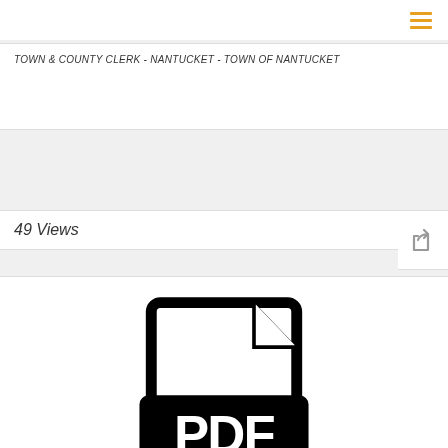TOWN & COUNTY CLERK - NANTUCKET - TOWN OF NANTUCKET
49 Views
[Figure (illustration): PDF file icon — a document outline with folded top-right corner and a black banner across the middle displaying the white text 'PDF']
TOWN & COUNTY CLERK - TOWN OF NANTUCKET